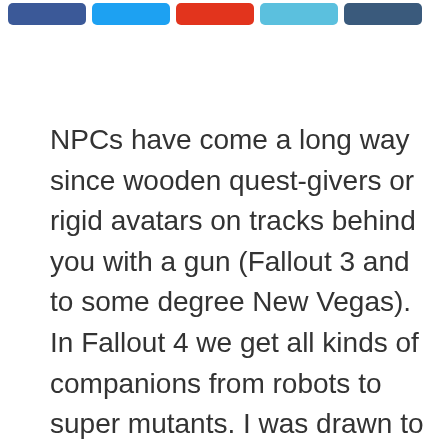[social sharing buttons]
NPCs have come a long way since wooden quest-givers or rigid avatars on tracks behind you with a gun (Fallout 3 and to some degree New Vegas). In Fallout 4 we get all kinds of companions from robots to super mutants. I was drawn to Nick Valentine immediately after a quick read of the wiki as the game was coming out, but I ended up finding a lot of depth in the character I hadn’t expected.